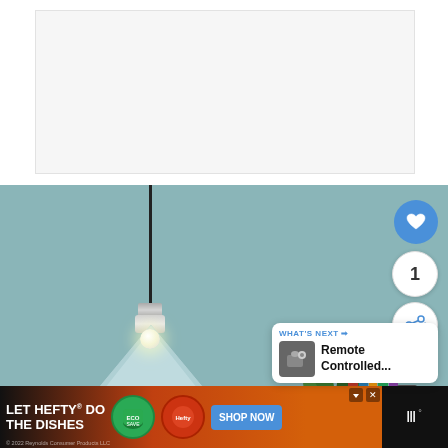[Figure (screenshot): White/light gray blank area at top of page, resembling a content placeholder or advertisement space]
[Figure (photo): Product photo of a glass conical pendant lamp with chrome fixture and Edison bulb, hanging against a teal/blue-gray wall with plants, books, and a camera in the background]
[Figure (infographic): Blue circular heart/favorite button icon overlay on the photo]
1
[Figure (infographic): White circular share button with share icon]
WHAT'S NEXT → Remote Controlled...
[Figure (infographic): Advertisement banner: LET HEFTY DO THE DISHES - Reynolds Consumer Products LLC 2022, with product images and SHOP NOW button]